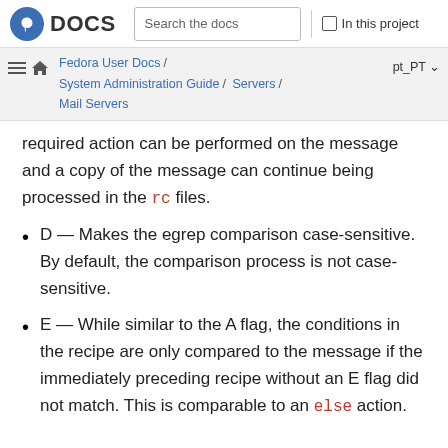Fedora DOCS — Search the docs | In this project
Fedora User Docs / System Administration Guide / Servers / Mail Servers — pt_PT
required action can be performed on the message and a copy of the message can continue being processed in the rc files.
D — Makes the egrep comparison case-sensitive. By default, the comparison process is not case-sensitive.
E — While similar to the A flag, the conditions in the recipe are only compared to the message if the immediately preceding recipe without an E flag did not match. This is comparable to an else action.